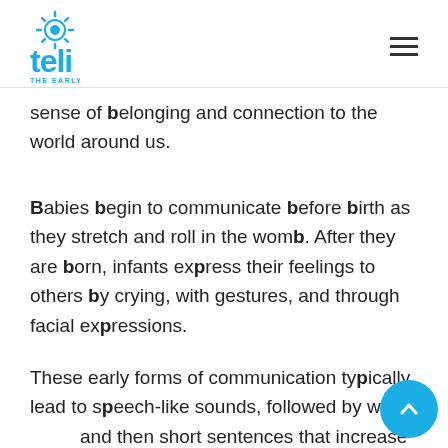teli THE EARLY LEARNING
sense of belonging and connection to the world around us.
Babies begin to communicate before birth as they stretch and roll in the womb. After they are born, infants express their feelings to others by crying, with gestures, and through facial expressions.
These early forms of communication typically lead to speech-like sounds, followed by w and then short sentences that increase in length over time. But many young children,